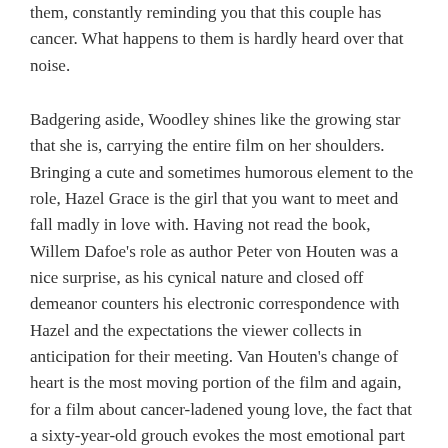them, constantly reminding you that this couple has cancer. What happens to them is hardly heard over that noise.
Badgering aside, Woodley shines like the growing star that she is, carrying the entire film on her shoulders. Bringing a cute and sometimes humorous element to the role, Hazel Grace is the girl that you want to meet and fall madly in love with. Having not read the book, Willem Dafoe's role as author Peter von Houten was a nice surprise, as his cynical nature and closed off demeanor counters his electronic correspondence with Hazel and the expectations the viewer collects in anticipation for their meeting. Van Houten's change of heart is the most moving portion of the film and again, for a film about cancer-ladened young love, the fact that a sixty-year-old grouch evokes the most emotional part of the film is saying something. The entire trip to Amsterdam is rather moving, especially when Hazel faces the stairs of the